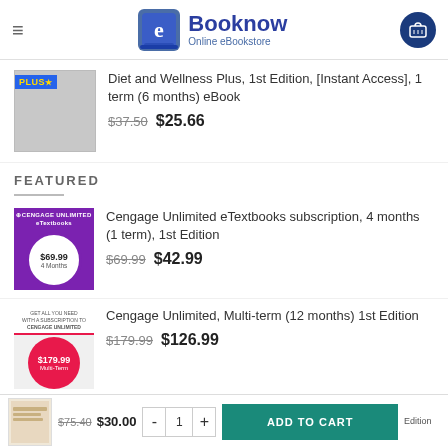Booknow Online eBookstore
[Figure (other): Book thumbnail for Diet and Wellness Plus with PLUS badge]
Diet and Wellness Plus, 1st Edition, [Instant Access], 1 term (6 months) eBook
$37.50  $25.66
FEATURED
[Figure (other): Cengage Unlimited purple book thumbnail with $69.99 4 Months badge]
Cengage Unlimited eTextbooks subscription, 4 months (1 term), 1st Edition
$69.99  $42.99
[Figure (other): Cengage Unlimited Multi-term thumbnail with $179.99 badge on red circle]
Cengage Unlimited, Multi-term (12 months) 1st Edition
$179.99  $126.99
$75.40  $30.00  1  ADD TO CART  Edition